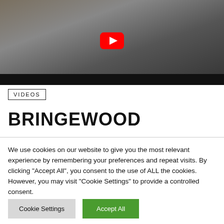[Figure (screenshot): YouTube video thumbnail showing people outdoors with a YouTube play button overlay and dark bottom bar]
VIDEOS
BRINGEWOOD
We use cookies on our website to give you the most relevant experience by remembering your preferences and repeat visits. By clicking "Accept All", you consent to the use of ALL the cookies. However, you may visit "Cookie Settings" to provide a controlled consent.